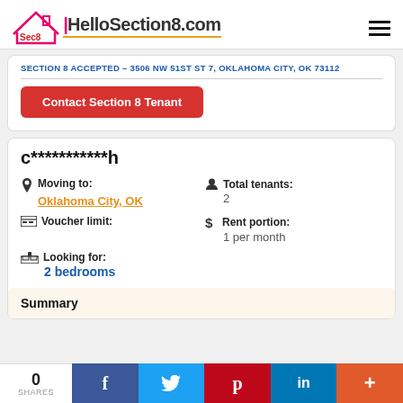Sec8 HelloSection8.com
SECTION 8 ACCEPTED – 3506 NW 51ST ST 7, OKLAHOMA CITY, OK 73112
Contact Section 8 Tenant
C***********h
Moving to: Oklahoma City, OK
Total tenants: 2
Voucher limit:
Rent portion: 1 per month
Looking for: 2 bedrooms
Summary
0 SHARES | f | t | p | in | +